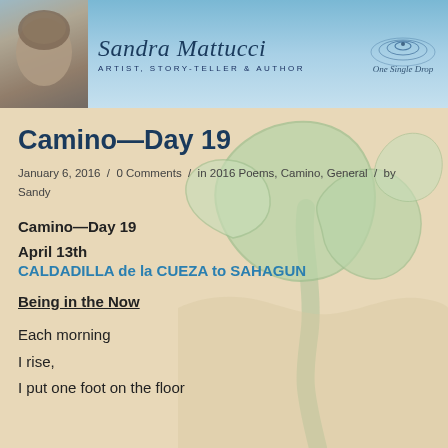[Figure (illustration): Website header banner with photo of Sandra Mattucci on the left, name and tagline in center, and One Single Drop ripple logo on the right, all on a blue gradient background]
Camino—Day 19
January 6, 2016 / 0 Comments / in 2016 Poems, Camino, General / by Sandy
Camino—Day 19
April 13th
CALDADILLA de la CUEZA to SAHAGUN
Being in the Now
Each morning
I rise,
I put one foot on the floor